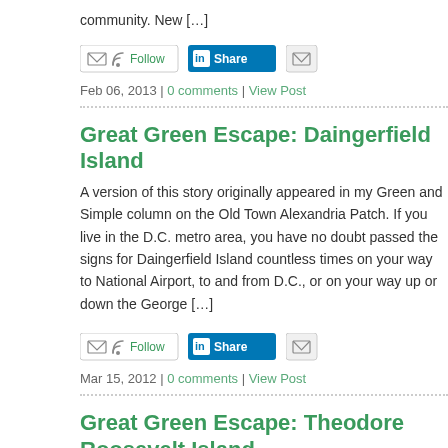community. New […]
[Figure (other): Follow button with email and RSS icons, LinkedIn Share button, email icon button]
Feb 06, 2013 | 0 comments | View Post
Great Green Escape: Daingerfield Island
A version of this story originally appeared in my Green and Simple column on the Old Town Alexandria Patch. If you live in the D.C. metro area, you have no doubt passed the signs for Daingerfield Island countless times on your way to National Airport, to and from D.C., or on your way up or down the George […]
[Figure (other): Follow button with email and RSS icons, LinkedIn Share button, email icon button]
Mar 15, 2012 | 0 comments | View Post
Great Green Escape: Theodore Roosevelt Island
A version of this story originally appeared in my Green and Simple column on the Old Town Alexandria Patch. If you travel along the George